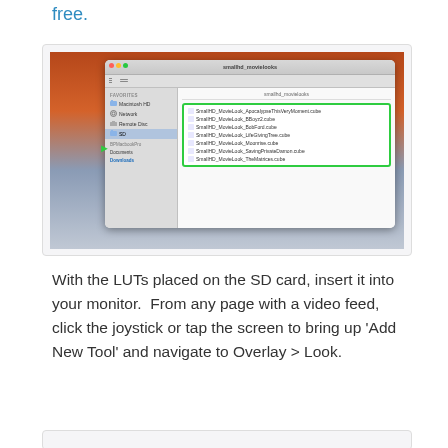free.
[Figure (screenshot): macOS Finder window showing smallhd_movielooks folder with a list of SmallHD MovieLook .cube files highlighted in a green border. A green arrow points to the SD card in the sidebar.]
With the LUTs placed on the SD card, insert it into your monitor.  From any page with a video feed, click the joystick or tap the screen to bring up ‘Add New Tool’ and navigate to Overlay > Look.